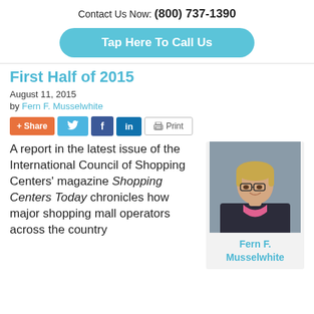Contact Us Now: (800) 737-1390
Tap Here To Call Us
First Half of 2015
August 11, 2015
by Fern F. Musselwhite
[Figure (other): Social sharing buttons: + Share, Twitter, Facebook, LinkedIn, Print]
A report in the latest issue of the International Council of Shopping Centers' magazine Shopping Centers Today chronicles how major shopping mall operators across the country
[Figure (photo): Headshot photo of Fern F. Musselwhite, a woman with blonde hair and glasses wearing a pink shirt and dark blazer]
Fern F. Musselwhite